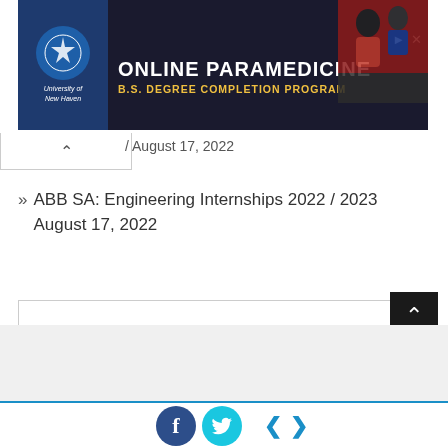[Figure (other): Advertisement banner for University of New Haven Online Paramedicine B.S. Degree Completion Program, with dark navy background, university logo, and text overlay.]
/ August 17, 2022
ABB SA: Engineering Internships 2022 / 2023 August 17, 2022
[Figure (screenshot): Search input box, empty text field with a black Search button below.]
[Figure (other): Back to top button, dark square with upward chevron arrow.]
Facebook and Twitter social icons, and left/right navigation arrows.